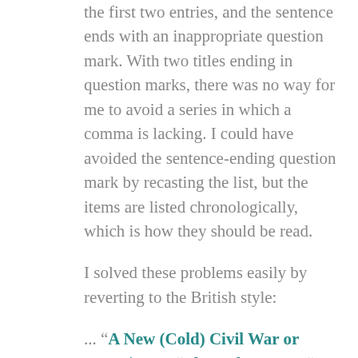the first two entries, and the sentence ends with an inappropriate question mark. With two titles ending in question marks, there was no way for me to avoid a series in which a comma is lacking. I could have avoided the sentence-ending question mark by recasting the list, but the items are listed chronologically, which is how they should be read.
I solved these problems easily by reverting to the British style:
... “A New (Cold) Civil War or Secession?”, “The Culture War“, “Polarization and De-facto Partition“, and “Civil War?“.
This not only eliminates the hodge-podge, but is also more logical and accurate. All items are separated by commas, commas aren’t displaced by